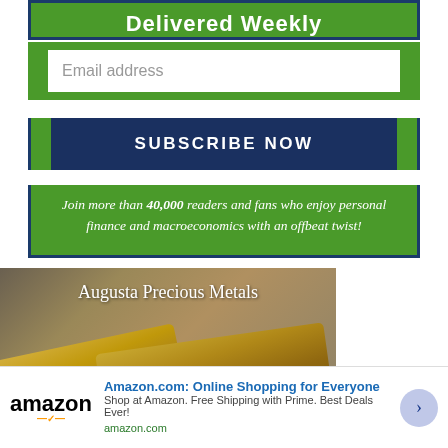Delivered Weekly
Email address
SUBSCRIBE NOW
Join more than 40,000 readers and fans who enjoy personal finance and macroeconomics with an offbeat twist!
[Figure (photo): Augusta Precious Metals advertisement showing two gold bars on a gray background]
[Figure (photo): Amazon.com online advertisement banner with Amazon logo, headline 'Amazon.com: Online Shopping for Everyone', subtext 'Shop at Amazon. Free Shipping with Prime. Best Deals Ever!', and amazon.com URL]